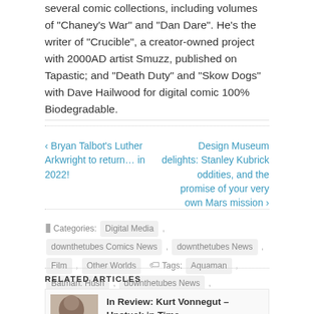several comic collections, including volumes of "Chaney's War" and "Dan Dare". He's the writer of "Crucible", a creator-owned project with 2000AD artist Smuzz, published on Tapastic; and "Death Duty" and "Skow Dogs" with Dave Hailwood for digital comic 100% Biodegradable.
‹ Bryan Talbot's Luther Arkwright to return… in 2022!
Design Museum delights: Stanley Kubrick oddities, and the promise of your very own Mars mission ›
Categories: Digital Media , downthetubes Comics News , downthetubes News , Film , Other Worlds   Tags: Aquaman , Batman: Hush , downthetubes News , Official Film Chart , Shazam! , The Conjuring Universe , The Curse Of La Llorona
RELATED ARTICLES
In Review: Kurt Vonnegut – Unstuck in Time